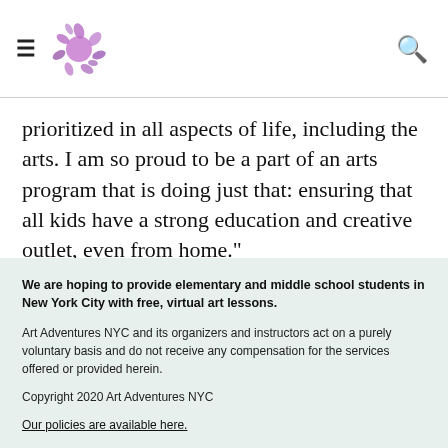Art Adventures NYC navigation header with hamburger menu, logo, and search icon
prioritized in all aspects of life, including the arts. I am so proud to be a part of an arts program that is doing just that: ensuring that all kids have a strong education and creative outlet, even from home."
-Tess Walsh, Theater Instructor
We are hoping to provide elementary and middle school students in New York City with free, virtual art lessons.
Art Adventures NYC and its organizers and instructors act on a purely voluntary basis and do not receive any compensation for the services offered or provided herein.
Copyright 2020 Art Adventures NYC
Our policies are available here.